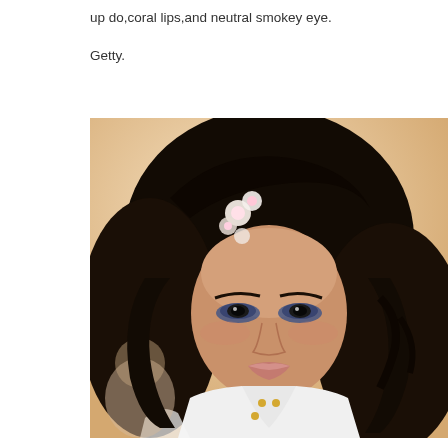up do,coral lips,and neutral smokey eye.
Getty.
[Figure (photo): A young woman with dark wavy hair adorned with small white and pink flowers, wearing a white top, with blue smokey eye makeup, looking directly at the camera against a warm beige background.]